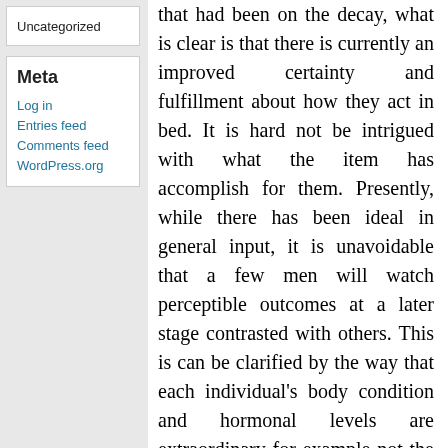Uncategorized
Meta
Log in
Entries feed
Comments feed
WordPress.org
that had been on the decay, what is clear is that there is currently an improved certainty and fulfillment about how they act in bed. It is hard not be intrigued with what the item has accomplish for them. Presently, while there has been ideal in general input, it is unavoidable that a few men will watch perceptible outcomes at a later stage contrasted with others. This is can be clarified by the way that each individual's body condition and hormonal levels are extraordinary for example not the equivalent with that of